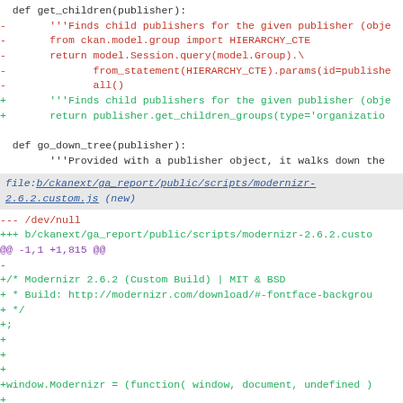Code diff showing Python function get_children and go_down_tree, followed by a new file header for b/ckanext/ga_report/public/scripts/modernizr-2.6.2.custom.js and diff content for that file including Modernizr 2.6.2 Custom Build additions.